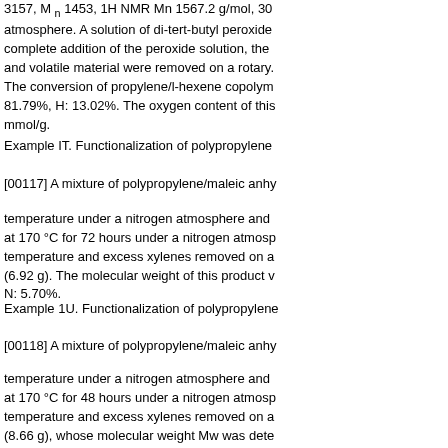3157, M n 1453, 1H NMR Mn 1567.2 g/mol, 30 atmosphere. A solution of di-tert-butyl peroxide complete addition of the peroxide solution, the and volatile material were removed on a rotary. The conversion of propylene/l-hexene copolym 81.79%, H: 13.02%. The oxygen content of this mmol/g.
Example IT. Functionalization of polypropylene
[00117] A mixture of polypropylene/maleic anhy
temperature under a nitrogen atmosphere and at 170 °C for 72 hours under a nitrogen atmosp temperature and excess xylenes removed on a (6.92 g). The molecular weight of this product v N: 5.70%.
Example 1U. Functionalization of polypropylene
[00118] A mixture of polypropylene/maleic anhy
temperature under a nitrogen atmosphere and at 170 °C for 48 hours under a nitrogen atmosp temperature and excess xylenes removed on a (8.66 g), whose molecular weight Mw was dete
Example IV. Functionalization of propylene/l-he
[00119] A mixture of vinyl-terminated propylene
MA) copolymer (8.00 g, from Example IS, 8.65